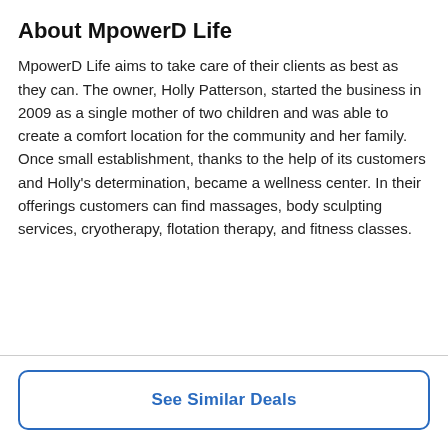About MpowerD Life
MpowerD Life aims to take care of their clients as best as they can. The owner, Holly Patterson, started the business in 2009 as a single mother of two children and was able to create a comfort location for the community and her family. Once small establishment, thanks to the help of its customers and Holly's determination, became a wellness center. In their offerings customers can find massages, body sculpting services, cryotherapy, flotation therapy, and fitness classes.
See Similar Deals